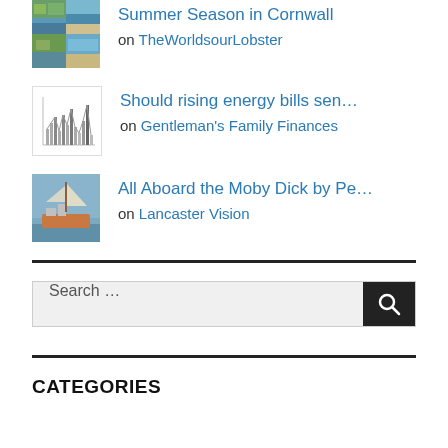Summer Season in Cornwall on TheWorldsourLobster
Should rising energy bills sen... on Gentleman's Family Finances
All Aboard the Moby Dick by Pe... on Lancaster Vision
Search ...
CATEGORIES